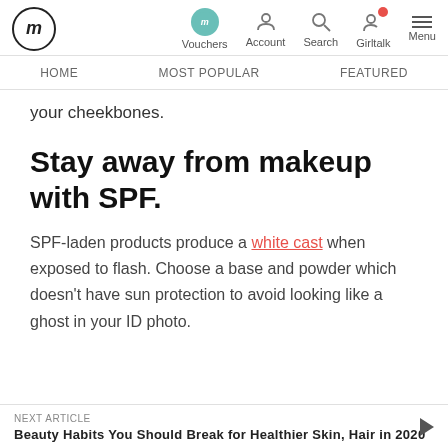fm | Vouchers | Account | Search | Girltalk | Menu | HOME | MOST POPULAR | FEATURED
your cheekbones.
Stay away from makeup with SPF.
SPF-laden products produce a white cast when exposed to flash. Choose a base and powder which doesn't have sun protection to avoid looking like a ghost in your ID photo.
NEXT ARTICLE
Beauty Habits You Should Break for Healthier Skin, Hair in 2020